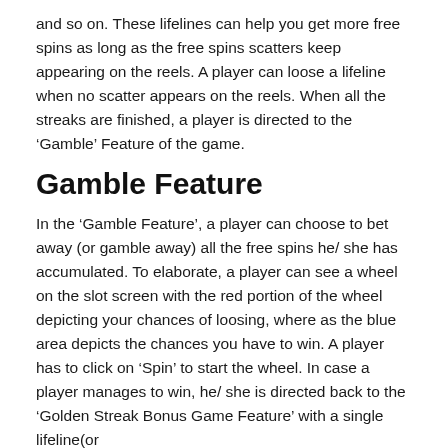and so on. These lifelines can help you get more free spins as long as the free spins scatters keep appearing on the reels. A player can loose a lifeline when no scatter appears on the reels. When all the streaks are finished, a player is directed to the ‘Gamble’ Feature of the game.
Gamble Feature
In the ‘Gamble Feature’, a player can choose to bet away (or gamble away) all the free spins he/ she has accumulated. To elaborate, a player can see a wheel on the slot screen with the red portion of the wheel depicting your chances of loosing, where as the blue area depicts the chances you have to win. A player has to click on ‘Spin’ to start the wheel. In case a player manages to win, he/ she is directed back to the ‘Golden Streak Bonus Game Feature’ with a single lifeline(or